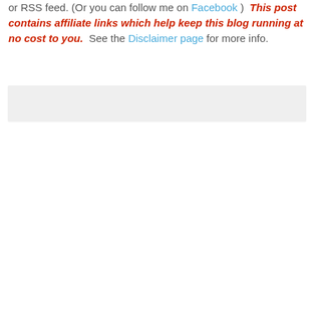or RSS feed. (Or you can follow me on Facebook )  This post contains affiliate links which help keep this blog running at no cost to you.  See the Disclaimer page for more info.
[Figure (other): A light gray rectangular box, likely an advertisement or widget placeholder]